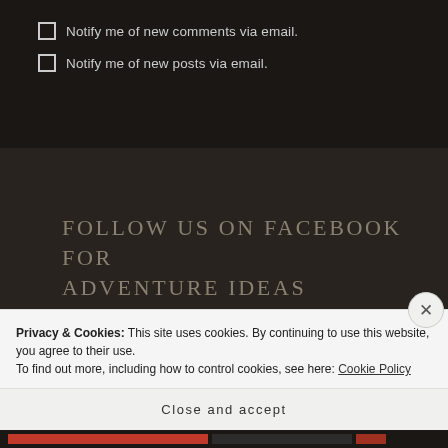Notify me of new comments via email.
Notify me of new posts via email.
FOLLOW US ON FACEBOOK FOR ADVENTURE IDEAS
Privacy & Cookies: This site uses cookies. By continuing to use this website, you agree to their use.
To find out more, including how to control cookies, see here: Cookie Policy
Close and accept